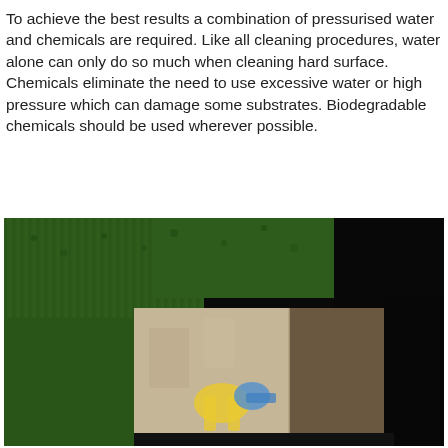To achieve the best results a combination of pressurised water and chemicals are required. Like all cleaning procedures, water alone can only do so much when cleaning hard surface. Chemicals eliminate the need to use excessive water or high pressure which can damage some substrates. Biodegradable chemicals should be used wherever possible.
[Figure (photo): Photograph showing a stone or paving slab with graffiti (colourful markings in yellow and blue) surrounded by artificial green grass/turf, set against a dark background. The left half of the slab appears cleaned/lighter while the right half shows dark staining, demonstrating a before-and-after cleaning comparison.]